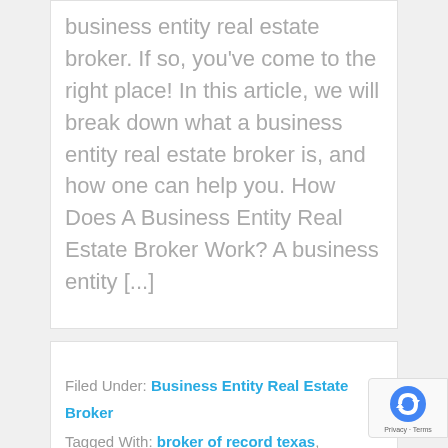business entity real estate broker. If so, you've come to the right place! In this article, we will break down what a business entity real estate broker is, and how one can help you. How Does A Business Entity Real Estate Broker Work? A business entity [...]
Filed Under: Business Entity Real Estate Broker Tagged With: broker of record texas, Business Entity Real Estate Broker, real estate broker, real estate broker texas, real estate market texas, texas broker of record, texas real estate market